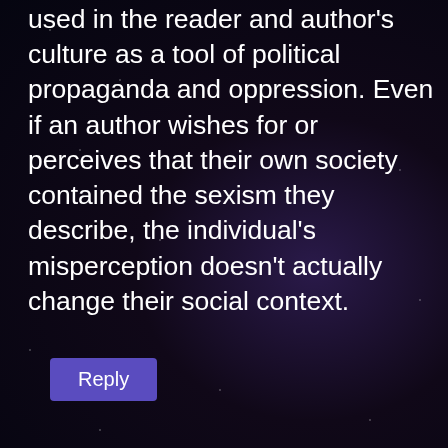used in the reader and author's culture as a tool of political propaganda and oppression. Even if an author wishes for or perceives that their own society contained the sexism they describe, the individual's misperception doesn't actually change their social context.
Reply
IN REPLY TO ALEX
[Figure (logo): Circular avatar/logo for Cay Reet Vigilant showing a stylized figure]
Cay Reet
May 22, 2016 at 6:53 am
By your own argument, you can be sexist against men, if you use specific male traits to